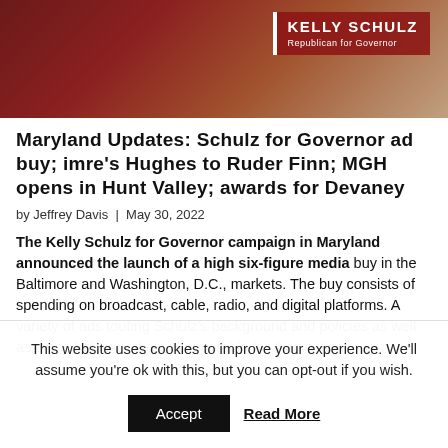[Figure (photo): Header image of Kelly Schulz, a woman in a dark red blazer, with a campaign badge overlay reading 'KELLY SCHULZ Republican for Governor' on a red background with white border accent.]
Maryland Updates: Schulz for Governor ad buy; imre's Hughes to Ruder Finn; MGH opens in Hunt Valley; awards for Devaney
by Jeffrey Davis | May 30, 2022
The Kelly Schulz for Governor campaign in Maryland announced the launch of a high six-figure media buy in the Baltimore and Washington, D.C., markets. The buy consists of spending on broadcast, cable, radio, and digital platforms. A variety of ads touting Schulz's background and policies as well as those holding others accountable for their actions
This website uses cookies to improve your experience. We'll assume you're ok with this, but you can opt-out if you wish.
Accept
Read More